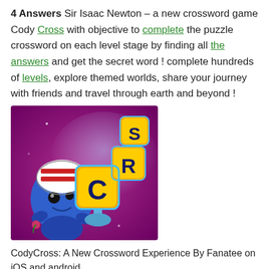4 Answers Sir Isaac Newton – a new crossword game Cody Cross with objective to complete the puzzle crossword on each level stage by finding all the answers and get the secret word ! complete hundreds of levels, explore themed worlds, share your journey with friends and travel through earth and beyond !
[Figure (photo): Screenshot of CodyCross game app showing a blue alien character holding crossword letter tiles C, R, S on a purple background]
CodyCross: A New Crossword Experience By Fanatee on iOS and android
Advertisement